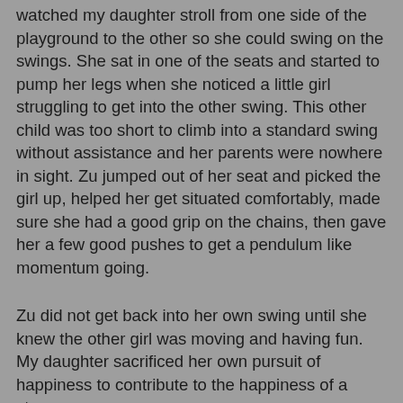watched my daughter stroll from one side of the playground to the other so she could swing on the swings. She sat in one of the seats and started to pump her legs when she noticed a little girl struggling to get into the other swing. This other child was too short to climb into a standard swing without assistance and her parents were nowhere in sight. Zu jumped out of her seat and picked the girl up, helped her get situated comfortably, made sure she had a good grip on the chains, then gave her a few good pushes to get a pendulum like momentum going.
Zu did not get back into her own swing until she knew the other girl was moving and having fun. My daughter sacrificed her own pursuit of happiness to contribute to the happiness of a stranger.
My kids know the rules. They know that they need to be gentler when there are smaller kids on the playground. I have done my best to instill in them a sense of kindness and positivity in all their interpersonal interactions. At the same time, I know they're kids. I expect some level of juvenile narcissism. Yet my kids continually surprise me with acts of